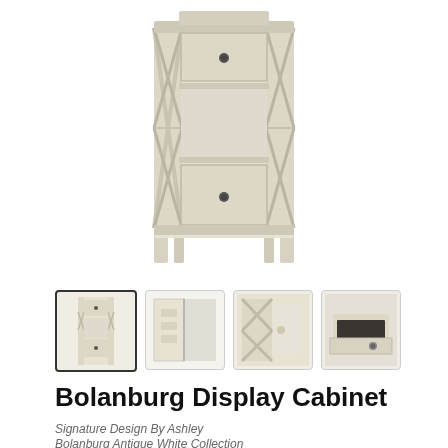[Figure (photo): Main product photo of the Bolanburg Display Cabinet, a tall white/antique white cabinet with X-pattern lattice sides, two drawers (one near top, one at bottom), and an open shelf in the middle. The cabinet has decorative cross-hatch side panels and small round knobs on the drawers.]
[Figure (photo): Thumbnail 1 (selected): Full front view of Bolanburg Display Cabinet showing full height with shelves and drawers, antique white finish.]
[Figure (photo): Thumbnail 2: Side view of cabinet with door open showing interior shelving.]
[Figure (photo): Thumbnail 3: Close-up of the X-pattern lattice side panel with items on shelf.]
[Figure (photo): Thumbnail 4: Close-up of open drawer showing dark interior lining.]
Bolanburg Display Cabinet
Signature Design By Ashley
Bolanburg Antique White Collection